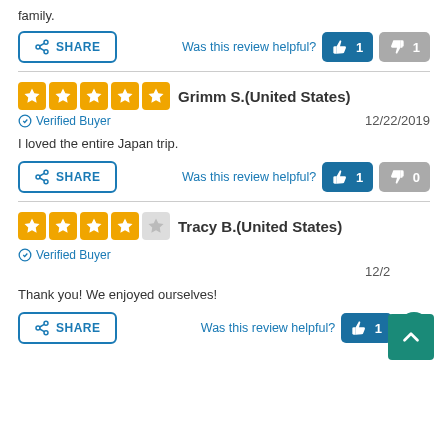family.
Was this review helpful?   👍 1   👎 1
Grimm S.(United States)   ✓ Verified Buyer   12/22/2019
I loved the entire Japan trip.
Was this review helpful?   👍 1   👎 0
Tracy B.(United States)   ✓ Verified Buyer   12/2...
Thank you! We enjoyed ourselves!
Was this review helpful?   👍 1